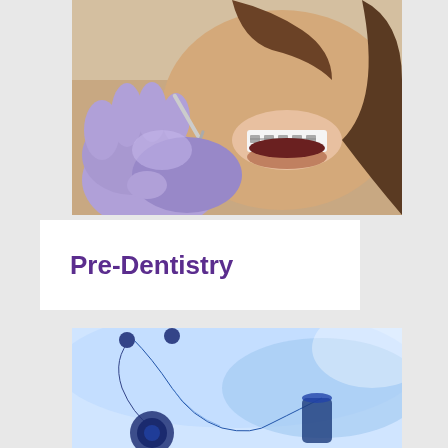[Figure (photo): A young woman with braces smiling while a dental professional in purple/lavender gloves examines her teeth with a dental instrument]
Pre-Dentistry
[Figure (photo): Close-up of a stethoscope and medical/dental tools with a blue-toned blurred background]